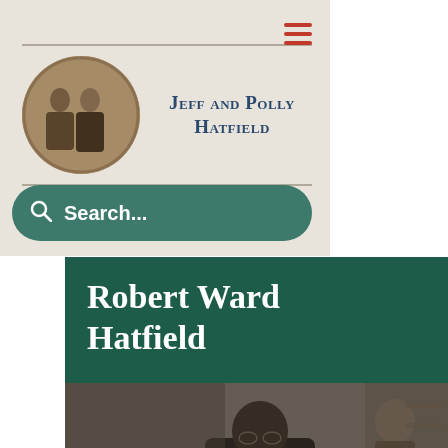[Figure (screenshot): Website screenshot showing Jeff and Polly Hatfield genealogy site header with oval sepia photo of a man and woman, site title 'Jeff and Polly Hatfield', a search bar, and a page for Robert Ward Hatfield with a dark green header and black-and-white photograph below.]
Jeff and Polly Hatfield
Robert Ward Hatfield